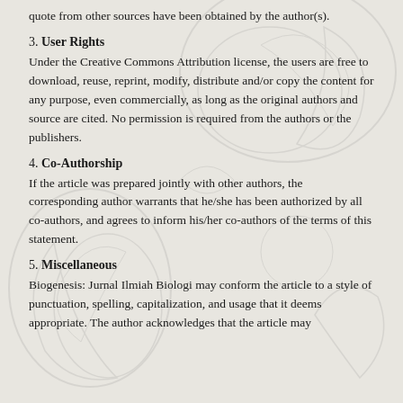quote from other sources have been obtained by the author(s).
3. User Rights
Under the Creative Commons Attribution license, the users are free to download, reuse, reprint, modify, distribute and/or copy the content for any purpose, even commercially, as long as the original authors and source are cited. No permission is required from the authors or the publishers.
4. Co-Authorship
If the article was prepared jointly with other authors, the corresponding author warrants that he/she has been authorized by all co-authors, and agrees to inform his/her co-authors of the terms of this statement.
5. Miscellaneous
Biogenesis: Jurnal Ilmiah Biologi may conform the article to a style of punctuation, spelling, capitalization, and usage that it deems appropriate. The author acknowledges that the article may